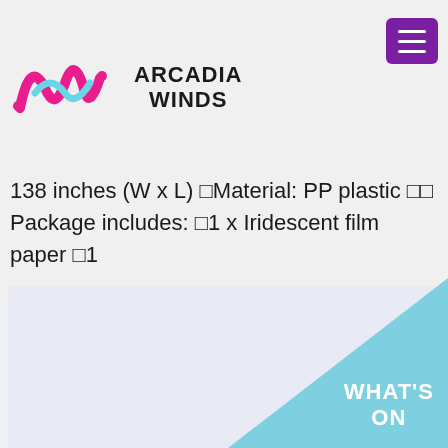Arcadia Winds
138 inches (W x L) □Material: PP plastic □□ Package includes: □1 x Iridescent film paper □1 x 30 g Iridescent film shreds □ □Note: □The iridescent film is fold-packaged in a bag, not rolling. □Please allow a little error on the size due to manual measurement. □The color might exist slightly difference due to different displays. □ □ □
[Figure (other): Light blue/cyan decorative diagonal band with WHAT'S ON text overlay in white on a light background panel]